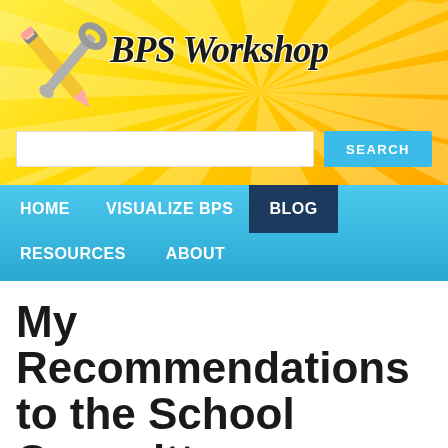[Figure (logo): BPS Workshop website header banner with yellow/gold sunburst background, pencil and wrench crossed logo icon on the left, and 'BPS Workshop' italic bold text on the right, along with a search input box and blue SEARCH button]
HOME   VISUALIZE BPS   BLOG   RESOURCES   ABOUT
My Recommendations to the School Committee on Student Assignment